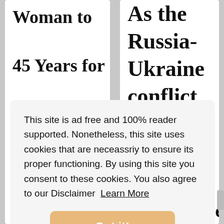Woman to 45 Years for Tweets
As the Russia-Ukraine conflict escalated and
This site is ad free and 100% reader supported. Nonetheless, this site uses cookies that are neceassriy to ensure its proper functioning. By using this site you consent to these cookies. You also agree to our Disclaimer  Learn More
Got it!
much of the
...ages